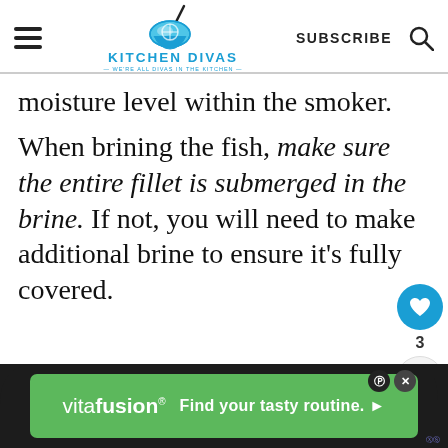KITCHEN DIVAS
moisture level within the smoker.
When brining the fish, make sure the entire fillet is submerged in the brine. If not, you will need to make additional brine to ensure it’s fully covered.
[Figure (other): Ad banner: vitafusion - Find your tasty routine.]